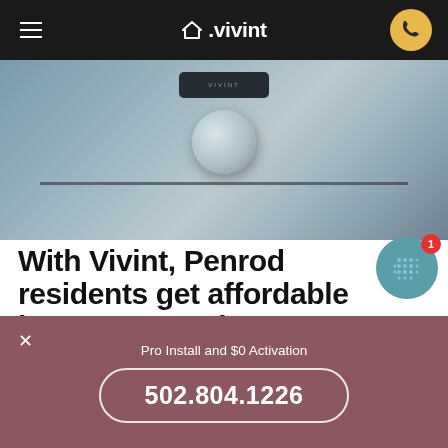Vivint navigation bar with hamburger menu, Vivint logo, and phone button
[Figure (photo): Close-up photo of a smart door lock/knob on a metal door surface]
With Vivint, Penrod residents get affordable home automation
For years, smart homes have been fodder for science fiction and fantasy stories. Now, most people see them as
[Figure (other): Teal circular chat widget with dot-grid pattern and red notification badge showing number 1]
Pro Install and $0 Activation
502.804.1226